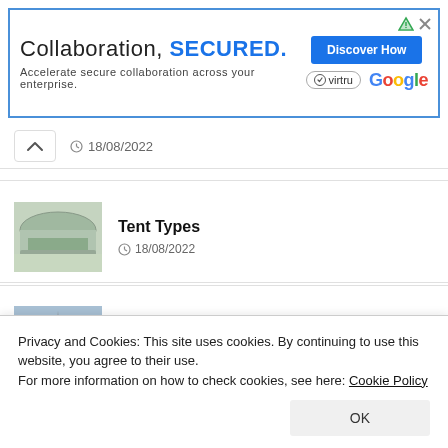[Figure (screenshot): Advertisement banner: 'Collaboration, SECURED. Accelerate secure collaboration across your enterprise.' with Virtru and Google logos and a 'Discover How' button]
18/08/2022
Tent Types
18/08/2022
Who is Ramazan Efe?
18/08/2022
Privacy and Cookies: This site uses cookies. By continuing to use this website, you agree to their use.
For more information on how to check cookies, see here: Cookie Policy
OK